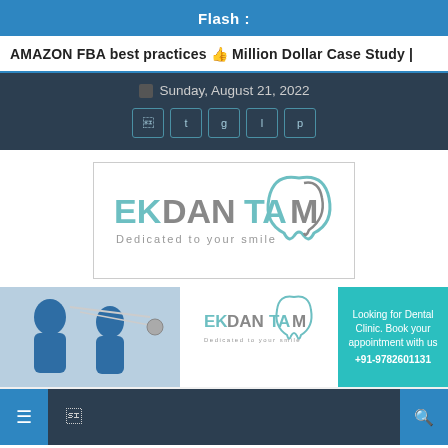Flash :
AMAZON FBA best practices 👍 Million Dollar Case Study |
Sunday, August 21, 2022
[Figure (logo): EKDANTAM – Dedicated to your smile logo with teal and grey tooth icon]
[Figure (photo): EKDANTAM dental clinic advertisement banner showing dentists at work, logo, and contact Looking for Dental Clinic. Book your appointment with us +91-9782601131]
Uncategorized
Purchasing The Best Foreign Birdes-To-Be For Matrimony